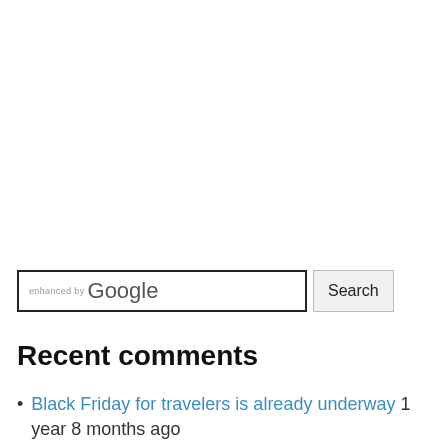[Figure (screenshot): Google custom search box with text 'enhanced by Google' and a 'Search' button]
Recent comments
Black Friday for travelers is already underway 1 year 8 months ago